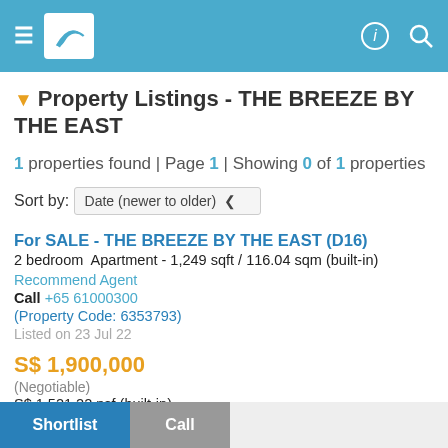Navigation header with logo and icons
Property Listings - THE BREEZE BY THE EAST
1 properties found | Page 1 | Showing 0 of 1 properties
Sort by: Date (newer to older)
For SALE - THE BREEZE BY THE EAST (D16)
2 bedroom Apartment - 1,249 sqft / 116.04 sqm (built-in)
Recommend Agent
Call +65 61000300
(Property Code: 6353793)
Listed on 23 Jul 22
S$ 1,900,000
(Negotiable)
S$ 1,521.22 psf (built-in)